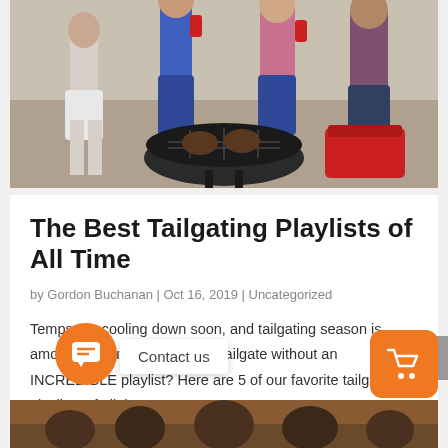[Figure (photo): A group of people tailgating outdoors around a large kettle grill with burgers cooking, with a red cooler visible in the background]
The Best Tailgating Playlists of All Time
by Gordon Buchanan | Oct 16, 2019 | Uncategorized
Temps are cooling down soon, and tailgating season is among us. But what's a good tailgate without an INCREDIBLE playlist? Here are 5 of our favorite tailgating playlists of all time. ULTIMATE TAILGATE PARTY PLAYLIST F... or the big game with...
[Figure (screenshot): Contact us popup button overlay with orange chat icon and cart icon buttons]